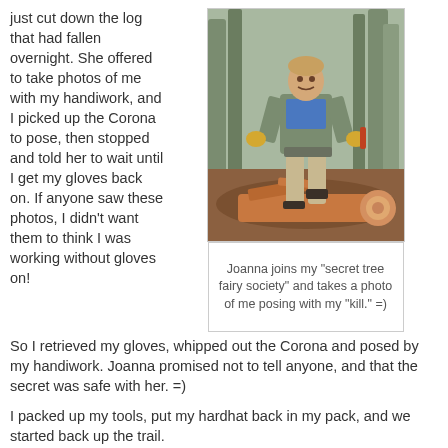just cut down the log that had fallen overnight. She offered to take photos of me with my handiwork, and I picked up the Corona to pose, then stopped and told her to wait until I get my gloves back on. If anyone saw these photos, I didn't want them to think I was working without gloves on! So I retrieved my gloves, whipped out the Corona and posed by my handiwork. Joanna promised not to tell anyone, and that the secret was safe with her. =)
[Figure (photo): A person standing in a forest trail area over a cut log, wearing camo jacket, blue shirt, tan pants, and gloves, holding a saw tool and posing with foot on a freshly cut log.]
Joanna joins my "secret tree fairy society" and takes a photo of me posing with my "kill." =)
I packed up my tools, put my hardhat back in my pack, and we started back up the trail.